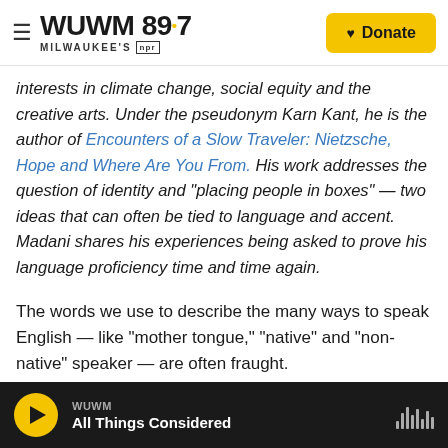WUWM 89.7 Milwaukee's NPR | Donate
interests in climate change, social equity and the creative arts. Under the pseudonym Karn Kant, he is the author of Encounters of a Slow Traveler: Nietzsche, Hope and Where Are You From. His work addresses the question of identity and "placing people in boxes" — two ideas that can often be tied to language and accent. Madani shares his experiences being asked to prove his language proficiency time and time again.
The words we use to describe the many ways to speak English — like "mother tongue," "native" and "non-native" speaker — are often fraught.
WUWM | All Things Considered